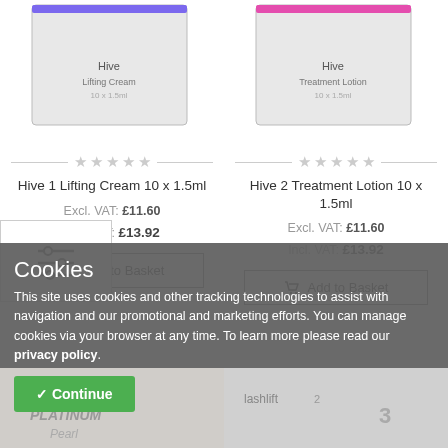[Figure (photo): Product image of Hive 1 Lifting Cream 10 x 1.5ml box with purple stripe, cropped at top]
[Figure (photo): Product image of Hive 2 Treatment Lotion 10 x 1.5ml box with pink stripe, cropped at top]
Hive 1 Lifting Cream 10 x 1.5ml
Excl. VAT: £11.60
Incl. VAT: £13.92
Add to Basket
Hive 2 Treatment Lotion 10 x 1.5ml
Excl. VAT: £11.60
Incl. VAT: £13.92
Add to Basket
Cookies
This site uses cookies and other tracking technologies to assist with navigation and our promotional and marketing efforts. You can manage cookies via your browser at any time. To learn more please read our privacy policy.
✓ Continue
[Figure (photo): Partial view of product boxes at the bottom, including one labeled PLATINUM and one labeled lashlift]
[Figure (infographic): Filter/sort icon control panel widget on left side]